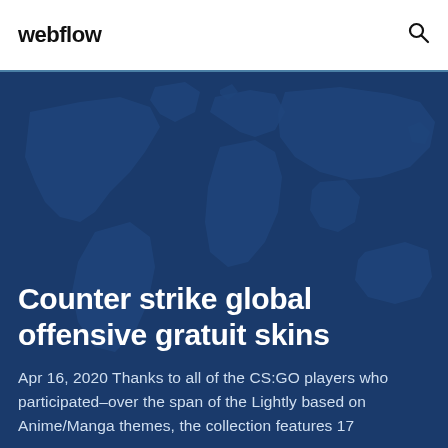webflow
[Figure (illustration): Dark blue world map graphic background for the hero section]
Counter strike global offensive gratuit skins
Apr 16, 2020 Thanks to all of the CS:GO players who participated–over the span of the Lightly based on Anime/Manga themes, the collection features 17